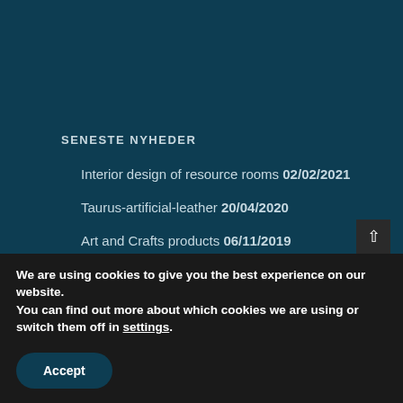SENESTE NYHEDER
Interior design of resource rooms 02/02/2021
Taurus-artificial-leather 20/04/2020
Art and Crafts products 06/11/2019
TERMS OF SERVICE
Cookie policy
We are using cookies to give you the best experience on our website.
You can find out more about which cookies we are using or switch them off in settings.
Accept